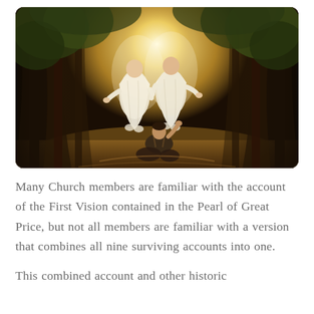[Figure (illustration): Religious painting depicting the First Vision: two luminous figures in white robes hovering in a forest clearing, surrounded by glowing light, with a young man kneeling on the ground looking up at them. Trees frame both sides of the scene.]
Many Church members are familiar with the account of the First Vision contained in the Pearl of Great Price, but not all members are familiar with a version that combines all nine surviving accounts into one.
This combined account and other historic